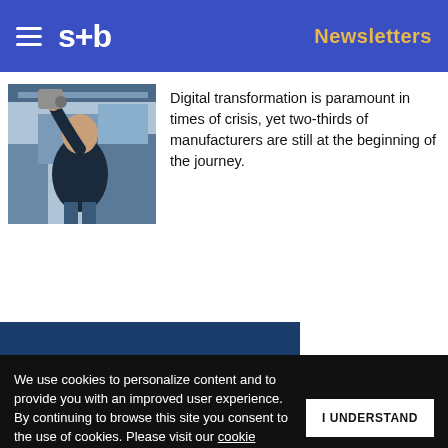s+b | Newsletters
[Figure (photo): A man in a dark t-shirt working with industrial machinery in a factory/workshop setting]
Digital transformation is paramount in times of crisis, yet two-thirds of manufacturers are still at the beginning of the journey.
Get s+b's award-winning newsletter delivered to your inbox.
We use cookies to personalize content and to provide you with an improved user experience. By continuing to browse this site you consent to the use of cookies. Please visit our cookie policy for further details.